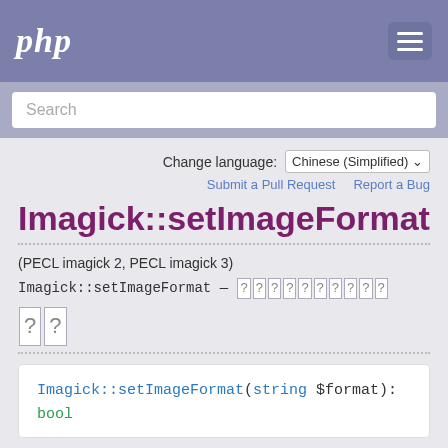php
Search
Change language: Chinese (Simplified)
Submit a Pull Request   Report a Bug
Imagick::setImageFormat
(PECL imagick 2, PECL imagick 3)
Imagick::setImageFormat — [unicode characters]
[unicode box characters]
Imagick::setImageFormat(string $format): bool